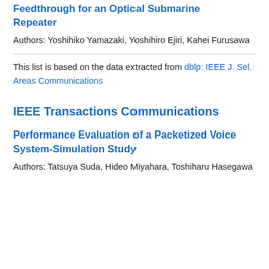Feedthrough for an Optical Submarine Repeater
Authors: Yoshihiko Yamazaki, Yoshihiro Ejiri, Kahei Furusawa
This list is based on the data extracted from dblp: IEEE J. Sel. Areas Communications
IEEE Transactions Communications
Performance Evaluation of a Packetized Voice System-Simulation Study
Authors: Tatsuya Suda, Hideo Miyahara, Toshiharu Hasegawa